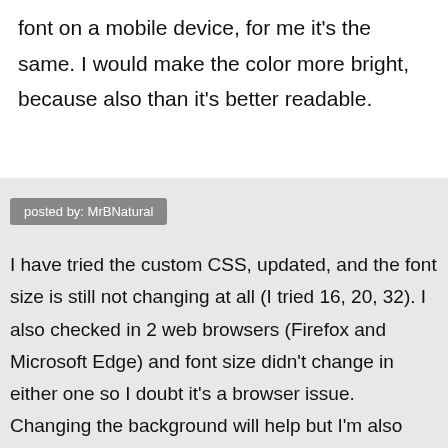font on a mobile device, for me it's the same. I would make the color more bright, because also than it's better readable.
posted by: MrBNatural
I have tried the custom CSS, updated, and the font size is still not changing at all (I tried 16, 20, 32). I also checked in 2 web browsers (Firefox and Microsoft Edge) and font size didn't change in either one so I doubt it's a browser issue. Changing the background will help but I'm also